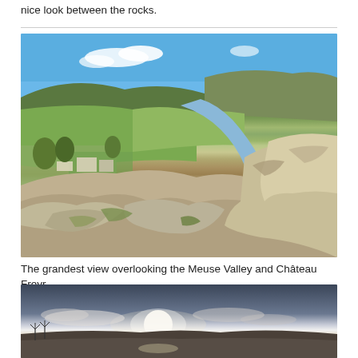nice look between the rocks.
[Figure (photo): Aerial view of the Meuse Valley with a river winding through the valley, rocky foreground cliffs, green fields, and Château Freyr visible below under a blue sky with clouds.]
The grandest view overlooking the Meuse Valley and Château Freyr
[Figure (photo): Panoramic landscape view with a bright sun near the horizon, clouds, dark hills in the distance, and a calm water reflection.]